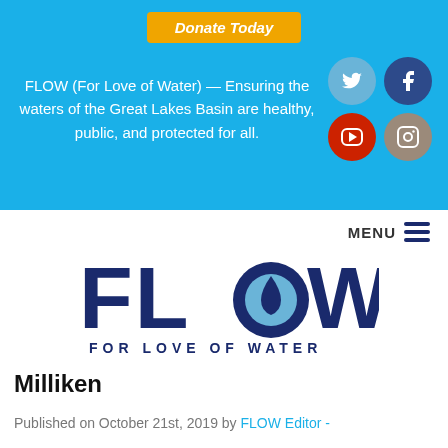[Figure (logo): Donate Today orange button banner at top of FLOW website]
FLOW (For Love of Water) — Ensuring the waters of the Great Lakes Basin are healthy, public, and protected for all.
[Figure (logo): FLOW - For Love of Water logo with water drop in the O of FLOW]
Milliken
Published on October 21st, 2019 by FLOW Editor -